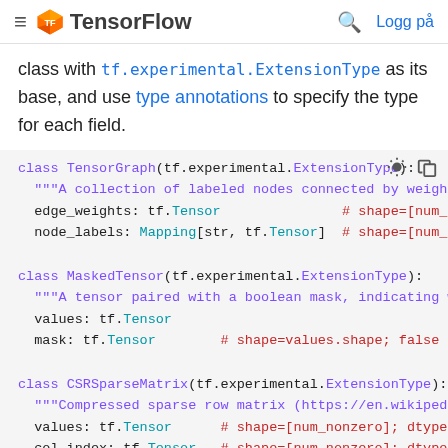TensorFlow  Logg på
class with tf.experimental.ExtensionType as its base, and use type annotations to specify the type for each field.
[Figure (screenshot): Code block showing three Python class definitions: TensorGraph, MaskedTensor, and CSRSparseMatrix, each inheriting from tf.experimental.ExtensionType, with field definitions using tf.Tensor and Mapping types and inline comments.]